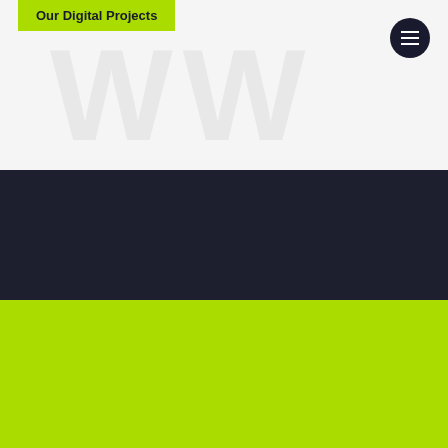Our Digital Projects
[Figure (illustration): Large decorative W watermark letters in light grey on a white/light background, partially visible]
[Figure (illustration): Dark circular menu/hamburger button in top right corner]
[Figure (illustration): Social media icons row: Twitter bird, Facebook f, Instagram camera, LinkedIn in — all in grey circles on dark navy background]
We use cookies to enhance your browsing experience. If you continue to browse our site, you are agreeing to receive all cookies from the Ridgeway website.
I Agree
Tell me more